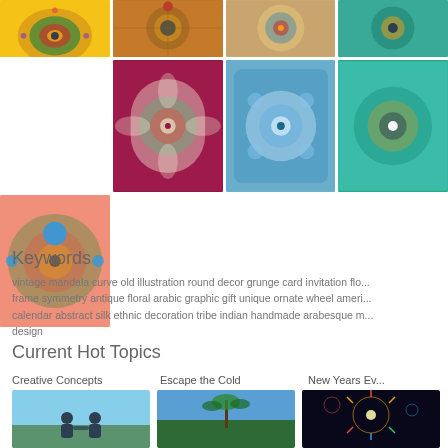[Figure (illustration): Gallery grid of colorful mandala/ornamental artwork thumbnails arranged in rows. Row 1: 4 thumbnails (yellow background mandala, orange-brown mandala, tan mandala, teal mandala - partially cut off). Row 2: first cell empty, crimson background mandala, blue background mandala, teal background mandala (cut off). Row 3: salmon/pink background mandala, then 3 empty cells.]
Keywords
vintage mandala curve old illustration round decor grunge card invitation flo... frame symmetry antique floral arabic graphic gift unique ornate wheel ameri... calendar abstract silk ethnic decoration tribe indian handmade arabesque m... design
Current Hot Topics
Creative Concepts
Escape the Cold
New Years Ev...
[Figure (photo): People shaking hands or celebrating outdoors against blue sky]
[Figure (photo): Tropical beach scene with palm trees and sky]
[Figure (photo): Fireworks against dark night sky]